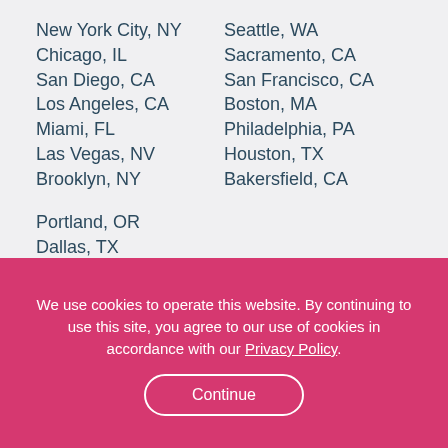New York City, NY
Chicago, IL
San Diego, CA
Los Angeles, CA
Miami, FL
Las Vegas, NV
Brooklyn, NY
Seattle, WA
Sacramento, CA
San Francisco, CA
Boston, MA
Philadelphia, PA
Houston, TX
Bakersfield, CA
Portland, OR
Dallas, TX
The Bronx, NY
Baltimore, MD
Phoenix, AZ
Salt Lake City, UT
We use cookies to operate this website. By continuing to use this site, you agree to our use of cookies in accordance with our Privacy Policy.